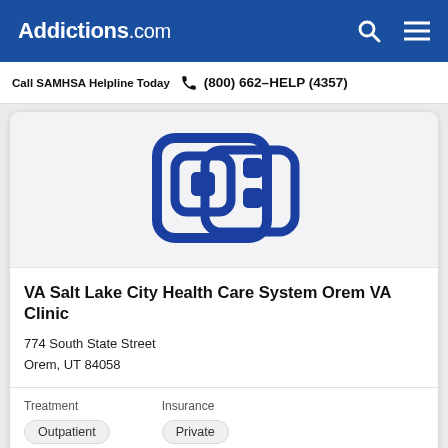Addictions.com
Call SAMHSA Helpline Today  (800) 662-HELP (4357)
[Figure (logo): VA / hospital icon logo in dark blue on light grey background]
VA Salt Lake City Health Care System Orem VA Clinic
774 South State Street
Orem, UT 84058
Treatment
Outpatient
Insurance
Private